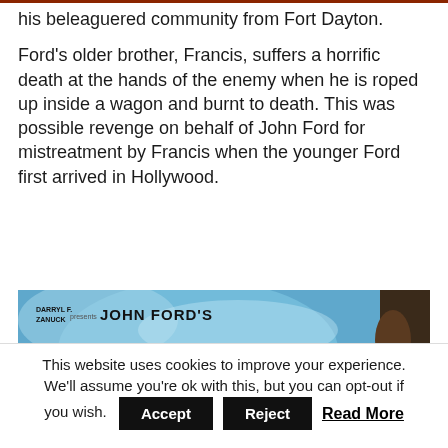his beleaguered community from Fort Dayton.
Ford's older brother, Francis, suffers a horrific death at the hands of the enemy when he is roped up inside a wagon and burnt to death. This was possible revenge on behalf of John Ford for mistreatment by Francis when the younger Ford first arrived in Hollywood.
[Figure (photo): Movie poster for 'My Darling Clementine' by John Ford, presented by Darryl F. Zanuck. Large red italic bold text reads 'MY DARLING' with a blue sky background and a dark figure on the right.]
This website uses cookies to improve your experience. We'll assume you're ok with this, but you can opt-out if you wish. Accept Reject Read More